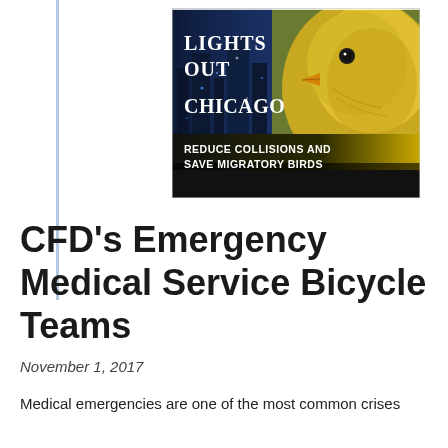[Figure (illustration): Lights Out Chicago promotional image: shows a yellow warbler bird close-up on the right half and a city skyline at night on the left half. Text overlay reads 'LIGHTS OUT CHICAGO' in large white serif font and 'REDUCE COLLISIONS AND SAVE MIGRATORY BIRDS' in a gold/black banner at the bottom.]
CFD's Emergency Medical Service Bicycle Teams
November 1, 2017
Medical emergencies are one of the most common crises